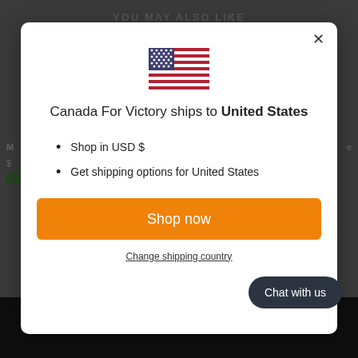[Figure (screenshot): Background e-commerce webpage showing 'YOU MAY ALSO LIKE' section with product listings and green Add to Cart buttons, dimmed behind a modal overlay]
[Figure (illustration): US flag SVG illustration centered at top of modal dialog]
Canada For Victory ships to United States
Shop in USD $
Get shipping options for United States
Shop now
Change shipping country
Chat with us